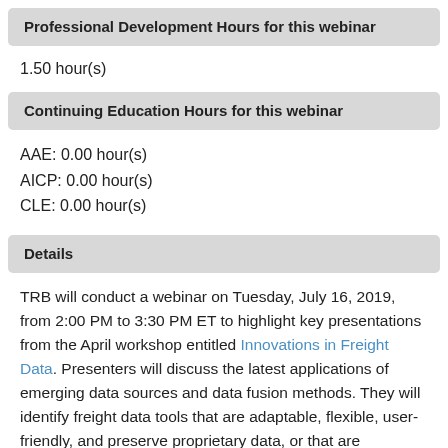Professional Development Hours for this webinar
1.50 hour(s)
Continuing Education Hours for this webinar
AAE: 0.00 hour(s)
AICP: 0.00 hour(s)
CLE: 0.00 hour(s)
Details
TRB will conduct a webinar on Tuesday, July 16, 2019, from 2:00 PM to 3:30 PM ET to highlight key presentations from the April workshop entitled Innovations in Freight Data. Presenters will discuss the latest applications of emerging data sources and data fusion methods. They will identify freight data tools that are adaptable, flexible, user-friendly, and preserve proprietary data, or that are developed with open source technology. Presenters will also describe transferable methods of data collection, analysis, and visualization to meet local, federal, or international freight planning and